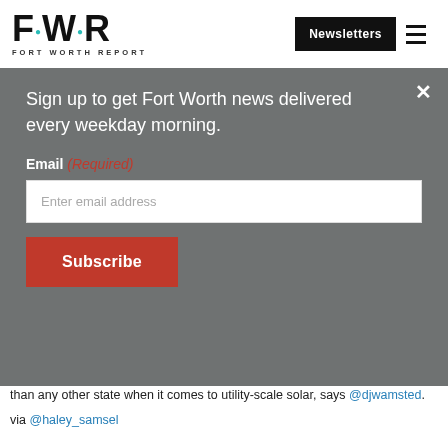[Figure (logo): Fort Worth Report logo with FWR letters and teal dots]
Newsletters  ☰
Sign up to get Fort Worth news delivered every weekday morning.
Email (Required)
Enter email address
Subscribe
than any other state when it comes to utility-scale solar, says @djwamsted.
via @haley_samsel